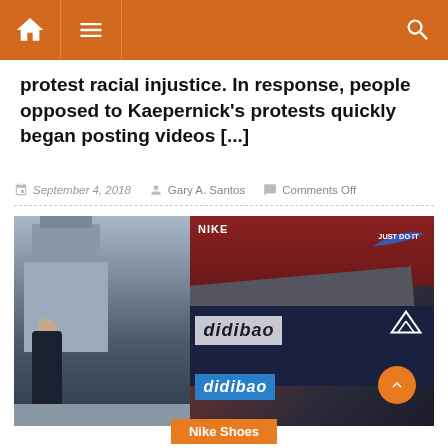Navigation header with home, menu, and search icons
protest racial injustice. In response, people opposed to Kaepernick's protests quickly began posting videos [...]
September 4, 2018  Gary A. Santos  Comments Off
[Figure (photo): Street scene showing a man in black walking past a Chinese-style building with counterfeit Nike and Adidas bags labeled 'didibao' in foreground]
Nike Shoes